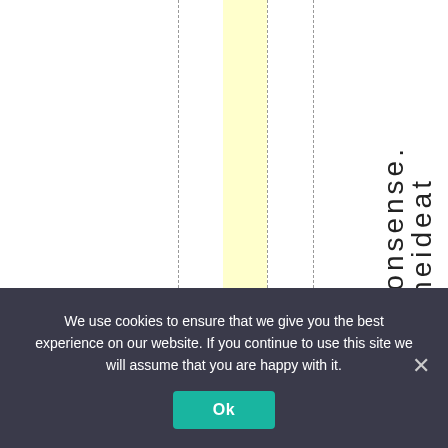[Figure (other): Partial document page showing vertical dashed lines, a yellow highlighted vertical band, and vertically written text reading 'monsense. Theideat' on the right side.]
We use cookies to ensure that we give you the best experience on our website. If you continue to use this site we will assume that you are happy with it.